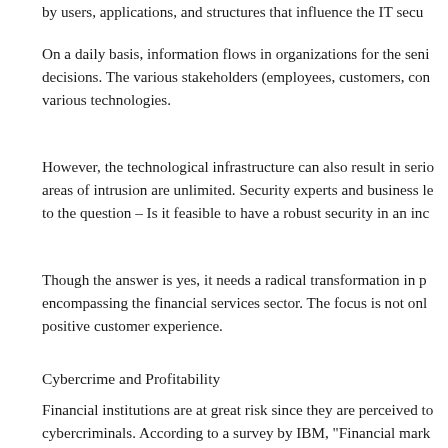by users, applications, and structures that influence the IT secu
On a daily basis, information flows in organizations for the seni decisions. The various stakeholders (employees, customers, con various technologies.
However, the technological infrastructure can also result in serio areas of intrusion are unlimited. Security experts and business le to the question – Is it feasible to have a robust security in an inc
Though the answer is yes, it needs a radical transformation in p encompassing the financial services sector. The focus is not onl positive customer experience.
Cybercrime and Profitability
Financial institutions are at great risk since they are perceived to cybercriminals. According to a survey by IBM, "Financial mark professional services together account for over 40% of all secur